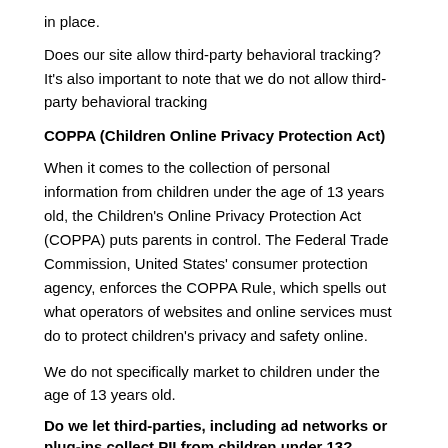in place.
Does our site allow third-party behavioral tracking? It's also important to note that we do not allow third-party behavioral tracking
COPPA (Children Online Privacy Protection Act)
When it comes to the collection of personal information from children under the age of 13 years old, the Children's Online Privacy Protection Act (COPPA) puts parents in control. The Federal Trade Commission, United States' consumer protection agency, enforces the COPPA Rule, which spells out what operators of websites and online services must do to protect children's privacy and safety online.
We do not specifically market to children under the age of 13 years old.
Do we let third-parties, including ad networks or plug-ins collect PII from children under 13?
Fair Information Practices